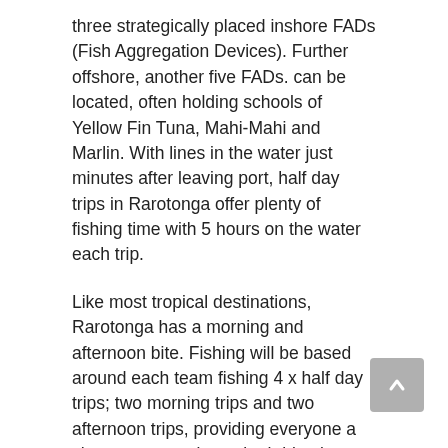three strategically placed inshore FADs (Fish Aggregation Devices). Further offshore, another five FADs. can be located, often holding schools of Yellow Fin Tuna, Mahi-Mahi and Marlin. With lines in the water just minutes after leaving port, half day trips in Rarotonga offer plenty of fishing time with 5 hours on the water each trip.
Like most tropical destinations, Rarotonga has a morning and afternoon bite. Fishing will be based around each team fishing 4 x half day trips; two morning trips and two afternoon trips, providing everyone a chance to experience both bite times.
FISHING PROGRAM:
“Busted & Bruised” is a charity fishing event